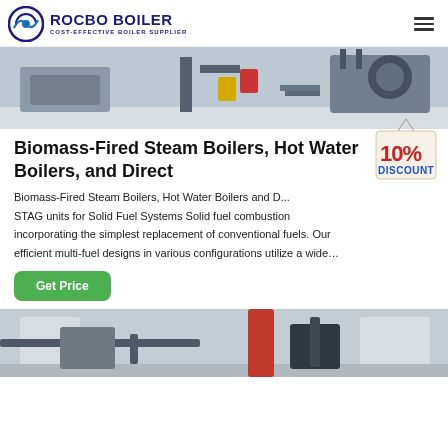ROCBO BOILER — COST-EFFECTIVE BOILER SUPPLIER
[Figure (photo): Industrial boiler equipment facility interior, showing machinery and pipework]
Biomass-Fired Steam Boilers, Hot Water Boilers, and Direct
[Figure (illustration): 10% DISCOUNT badge/tag]
Biomass-Fired Steam Boilers, Hot Water Boilers and D... STAG units for Solid Fuel Systems Solid fuel combustion incorporating the simplest replacement of conventional fuels. Our efficient multi-fuel designs in various configurations utilize a wide…
[Figure (photo): Industrial boiler room interior with red cylindrical tank and pipes]